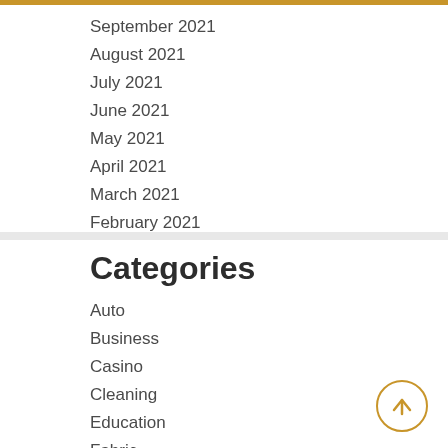September 2021
August 2021
July 2021
June 2021
May 2021
April 2021
March 2021
February 2021
Categories
Auto
Business
Casino
Cleaning
Education
Fabric
Fashion
Featured